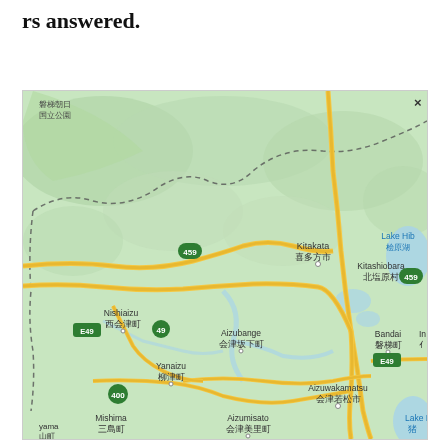rs answered.
[Figure (map): Google Maps screenshot showing the Aizu region of Fukushima Prefecture, Japan. Visible place names include Kitakata/喜多方市, Kitashiobara/北塩原村, Nishiaizu/西会津町, Aizubange/会津坂下町, Yanaizu/柳津町, Mishima/三島町, Aizumisato/会津美里町, Aizuwakamatsu/会津若松市, Bandai/磐梯町, Lake Hibara/桧原湖, Lake Inawashiro (partial). Road numbers visible: 459, 49, E49, 400. National park label 磐梯朝日国立公園 in upper left. Map has topographic shading with green terrain and yellow roads. A dashed boundary line runs through the mountainous northern area.]